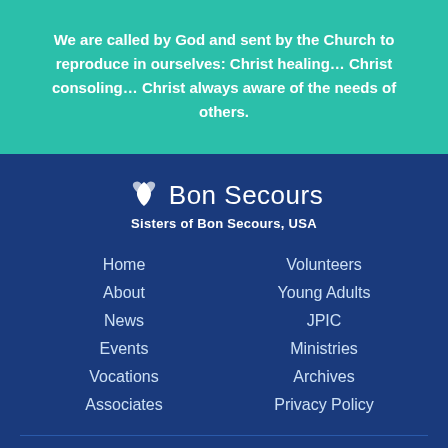We are called by God and sent by the Church to reproduce in ourselves: Christ healing… Christ consoling… Christ always aware of the needs of others.
[Figure (logo): Bon Secours Sisters of Bon Secours, USA logo with white leaf/dove icon]
Home
About
News
Events
Vocations
Associates
Volunteers
Young Adults
JPIC
Ministries
Archives
Privacy Policy
Contact US
If you have additional questions or would like more